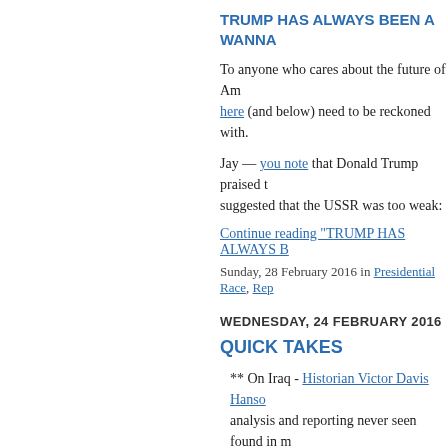TRUMP HAS ALWAYS BEEN A WANNA...
To anyone who cares about the future of Am... here (and below) need to be reckoned with.
Jay — you note that Donald Trump praised t... suggested that the USSR was too weak:
Continue reading "TRUMP HAS ALWAYS B...
Sunday, 28 February 2016 in Presidential Race, Rep...
WEDNESDAY, 24 FEBRUARY 2016
QUICK TAKES
** On Iraq - Historian Victor Davis Hanso... analysis and reporting never seen found in m... Trump down from his pedestal)  UPDATE 3... with Victor Davis Hanson
** Evangelical leaders on picking a Presid...
** Andrew C. McCarthy (the sharpest and... Islam and terrorism) writes:  "Why Closing G...